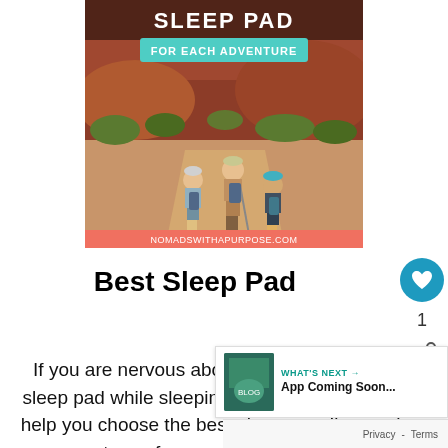[Figure (photo): Pinterest-style pin image showing three people hiking on a desert trail with red rock formations and scrubby vegetation. Text overlay at top reads 'SLEEP PAD FOR EACH ADVENTURE' with teal banner. Bottom has coral/salmon strip with text 'NOMADSWITHAPURPOSE.COM'.]
Best Sleep Pad
If you are nervous about having a comfortable sleep pad while sleeping in a tent, this blog will help you choose the best sleep pad for you. I'm not the type of person who can just